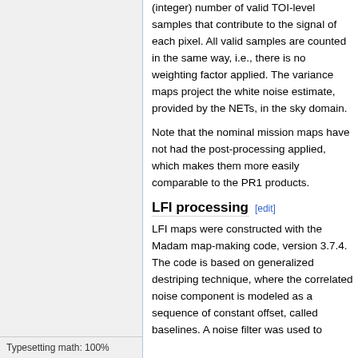(integer) number of valid TOI-level samples that contribute to the signal of each pixel. All valid samples are counted in the same way, i.e., there is no weighting factor applied. The variance maps project the white noise estimate, provided by the NETs, in the sky domain.
Note that the nominal mission maps have not had the post-processing applied, which makes them more easily comparable to the PR1 products.
LFI processing
LFI maps were constructed with the Madam map-making code, version 3.7.4. The code is based on generalized destriping technique, where the correlated noise component is modeled as a sequence of constant offset, called baselines. A noise filter was used to
Typesetting math: 100%